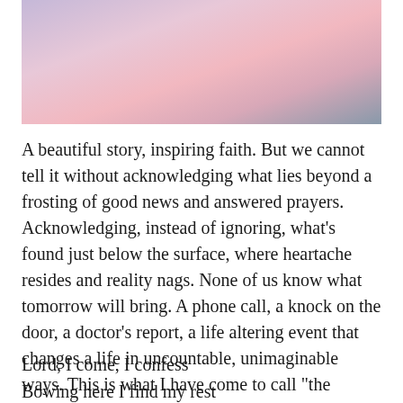[Figure (photo): Photo of pink and purple soft blankets or stuffed animals on a bed or hospital-type setting]
A beautiful story, inspiring faith. But we cannot tell it without acknowledging what lies beyond a frosting of good news and answered prayers. Acknowledging, instead of ignoring, what’s found just below the surface, where heartache resides and reality nags. None of us know what tomorrow will bring. A phone call, a knock on the door, a doctor’s report, a life altering event that changes a life in uncountable, unimaginable ways. This is what I have come to call “the valley.” Deep, dark, and dreadful. But in the mess, in the heartache, in the realizing that we cannot save ourselves from the despair that clings to our heels, this is ultimately where we finally find Jesus…
Lord, I come, I confess
Bowing here I find my rest
Without You I fall apart